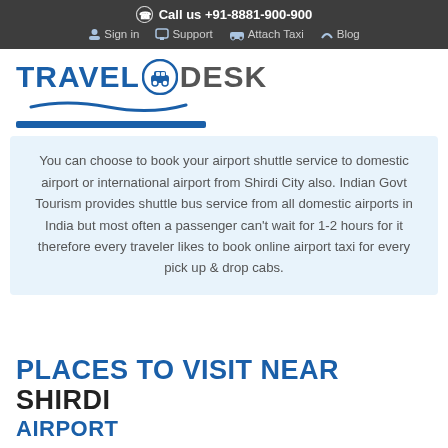Call us +91-8881-900-900 | Sign in | Support | Attach Taxi | Blog
[Figure (logo): TravelODesk logo with blue car icon and wave underline]
You can choose to book your airport shuttle service to domestic airport or international airport from Shirdi City also. Indian Govt Tourism provides shuttle bus service from all domestic airports in India but most often a passenger can't wait for 1-2 hours for it therefore every traveler likes to book online airport taxi for every pick up & drop cabs.
PLACES TO VISIT NEAR SHIRDI AIRPORT